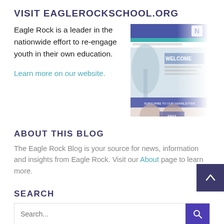VISIT EAGLEROCKSCHOOL.ORG
Eagle Rock is a leader in the nationwide effort to re-engage youth in their own education.
Learn more on our website.
[Figure (screenshot): Screenshot of eaglerockschool.org website showing a welcome page with blue header bar and a photo of students]
ABOUT THIS BLOG
The Eagle Rock Blog is your source for news, information and insights from Eagle Rock. Visit our About page to learn more.
SEARCH